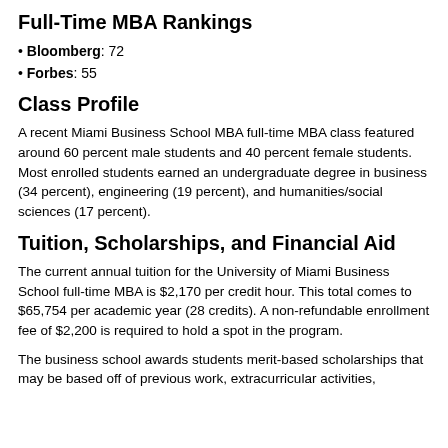Full-Time MBA Rankings
Bloomberg: 72
Forbes: 55
Class Profile
A recent Miami Business School MBA full-time MBA class featured around 60 percent male students and 40 percent female students. Most enrolled students earned an undergraduate degree in business (34 percent), engineering (19 percent), and humanities/social sciences (17 percent).
Tuition, Scholarships, and Financial Aid
The current annual tuition for the University of Miami Business School full-time MBA is $2,170 per credit hour. This total comes to $65,754 per academic year (28 credits). A non-refundable enrollment fee of $2,200 is required to hold a spot in the program.
The business school awards students merit-based scholarships that may be based off of previous work, extracurricular activities,